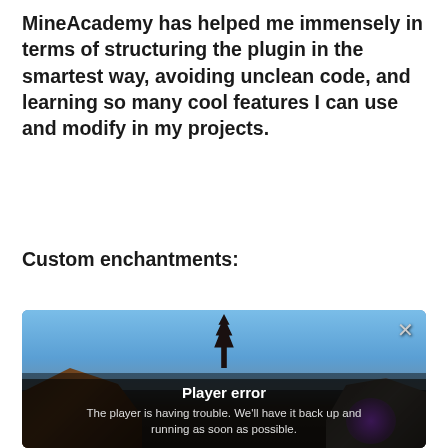MineAcademy has helped me immensely in terms of structuring the plugin in the smartest way, avoiding unclean code, and learning so many cool features I can use and modify in my projects.
Custom enchantments:
[Figure (screenshot): Minecraft game screenshot with a 'Player error' overlay message. The background shows a Minecraft environment with sky, cliffs, and a dark lower area with purple glow. An error dialog reads: 'Player error' and 'The player is having trouble. We'll have it back up and running as soon as possible.' A close (X) button is in the top right.]